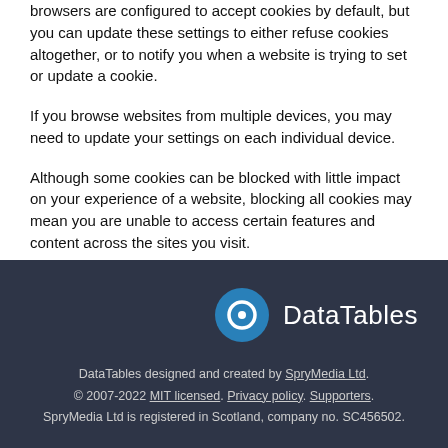browsers are configured to accept cookies by default, but you can update these settings to either refuse cookies altogether, or to notify you when a website is trying to set or update a cookie.
If you browse websites from multiple devices, you may need to update your settings on each individual device.
Although some cookies can be blocked with little impact on your experience of a website, blocking all cookies may mean you are unable to access certain features and content across the sites you visit.
[Figure (logo): DataTables logo: blue circle with white ring/dot icon, followed by 'DataTables' text in white]
DataTables designed and created by SpryMedia Ltd. © 2007-2022 MIT licensed. Privacy policy. Supporters. SpryMedia Ltd is registered in Scotland, company no. SC456502.